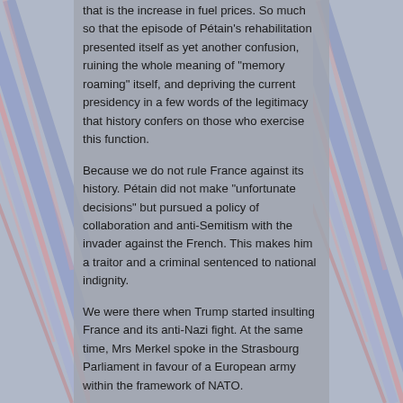that is the increase in fuel prices. So much so that the episode of Pétain's rehabilitation presented itself as yet another confusion, ruining the whole meaning of "memory roaming" itself, and depriving the current presidency in a few words of the legitimacy that history confers on those who exercise this function.
Because we do not rule France against its history. Pétain did not make "unfortunate decisions" but pursued a policy of collaboration and anti-Semitism with the invader against the French. This makes him a traitor and a criminal sentenced to national indignity.
We were there when Trump started insulting France and its anti-Nazi fight. At the same time, Mrs Merkel spoke in the Strasbourg Parliament in favour of a European army within the framework of NATO.
And Macron let himself wander from one end of each sequence to the other as if he no longer had any control over the events. And in fact, right now, he no longer has any control over events.